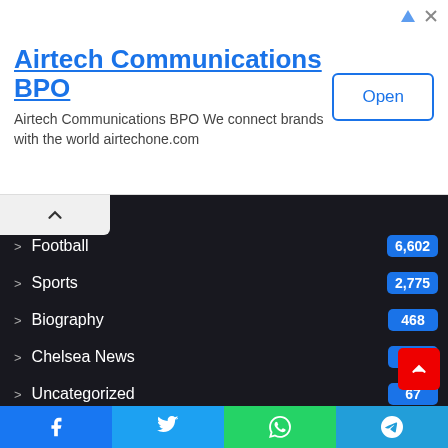[Figure (screenshot): Advertisement banner for Airtech Communications BPO with title, description text, and Open button]
Football 6,602
Sports 2,775
Biography 468
Chelsea News 411
Uncategorized 67
Manchester United News 54
Liverpool News 52
Nigeria Sports News 47
Boxing
Tennis 35